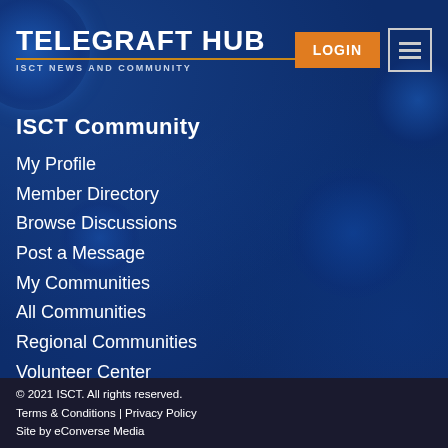TELEGRAFT HUB — ISCT NEWS AND COMMUNITY
ISCT Community
My Profile
Member Directory
Browse Discussions
Post a Message
My Communities
All Communities
Regional Communities
Volunteer Center
© 2021 ISCT. All rights reserved. Terms & Conditions | Privacy Policy Site by eConverse Media